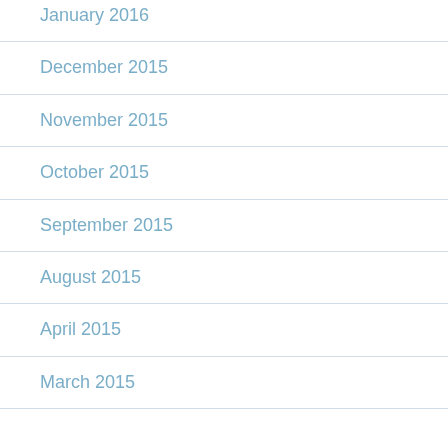January 2016
December 2015
November 2015
October 2015
September 2015
August 2015
April 2015
March 2015